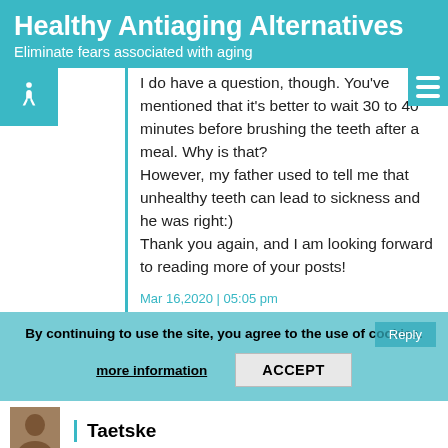Healthy Antiaging Alternatives
Eliminate fears associated with aging
I do have a question, though. You've mentioned that it's better to wait 30 to 40 minutes before brushing the teeth after a meal. Why is that? However, my father used to tell me that unhealthy teeth can lead to sickness and he was right:)
Thank you again, and I am looking forward to reading more of your posts!
Mar 16,2020 | 05:05 pm
By continuing to use the site, you agree to the use of cookies.
more information   ACCEPT
Taetske